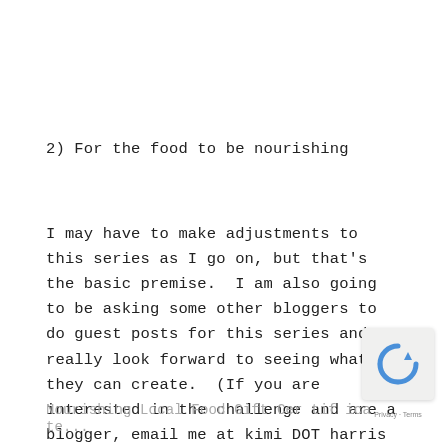2) For the food to be nourishing
I may have to make adjustments to this series as I go on, but that's the basic premise.  I am also going to be asking some other bloggers to do guest posts for this series and I really look forward to seeing what they can create.  (If you are interested in the challenge and are a blogger, email me at kimi DOT harris AT gmail DOT com for more information).
Nourishing Local Food Gift Cer tif ica te...